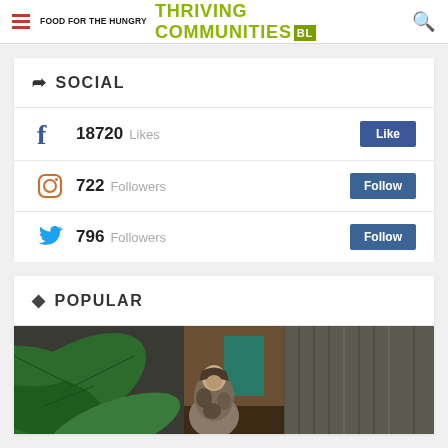Food For The Hungry | THRIVING COMMUNITIES BLOG
SOCIAL
18720 Likes
722 Followers
796 Followers
POPULAR
[Figure (photo): Person wrapped in a blanket/fur coat sitting near large tropical leaves against corrugated metal wall background]